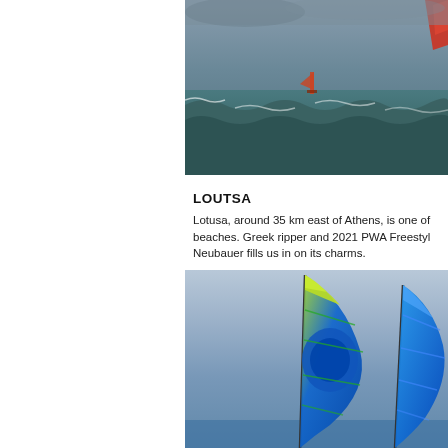[Figure (photo): Windsurfer on choppy ocean waves with dark stormy sky, partially cropped at top. A distant windsurfer is visible on the water.]
LOUTSA
Lotusa, around 35 km east of Athens, is one of beaches. Greek ripper and 2021 PWA Freestyl Neubauer fills us in on its charms.
[Figure (photo): Two colorful windsurfing sails (one yellow-green and blue, one blue) held up against a light blue sky, viewed from below.]